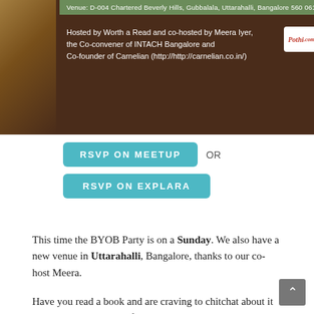[Figure (infographic): Dark brown event banner showing venue text at top, hosted by text for Worth a Read and co-hosted by Meera Iyer, Co-convener of INTACH Bangalore and Co-founder of Carnelian. Pothi.com and Worth A Read logos visible. InstaScribe logo partially visible at bottom right.]
RSVP ON MEETUP OR
RSVP ON EXPLARA
This time the BYOB Party is on a Sunday. We also have a new venue in Uttarahalli, Bangalore, thanks to our co-host Meera.
Have you read a book and are craving to chitchat about it with someone? Have a favorite book that you think everyone would love, if only they knew about it? Want to see what others are reading and have interesting